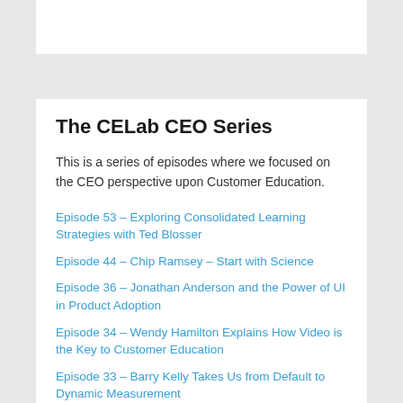The CELab CEO Series
This is a series of episodes where we focused on the CEO perspective upon Customer Education.
Episode 53 – Exploring Consolidated Learning Strategies with Ted Blosser
Episode 44 – Chip Ramsey – Start with Science
Episode 36 – Jonathan Anderson and the Power of UI in Product Adoption
Episode 34 – Wendy Hamilton Explains How Video is the Key to Customer Education
Episode 33 – Barry Kelly Takes Us from Default to Dynamic Measurement